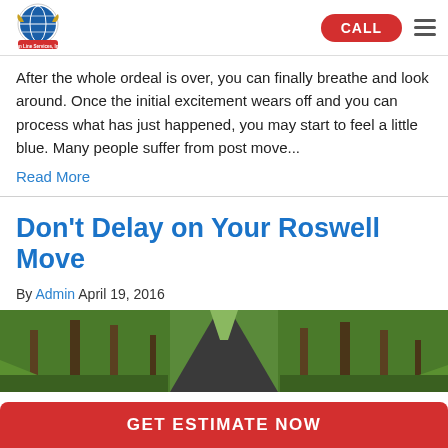Air Land Sea Van Line Services, Inc. [logo] | CALL | [menu]
After the whole ordeal is over, you can finally breathe and look around. Once the initial excitement wears off and you can process what has just happened, you may start to feel a little blue. Many people suffer from post move...
Read More
Don't Delay on Your Roswell Move
By Admin April 19, 2016
[Figure (photo): Forest road with tall trees and lush green vegetation on both sides, viewed from inside a vehicle]
GET ESTIMATE NOW